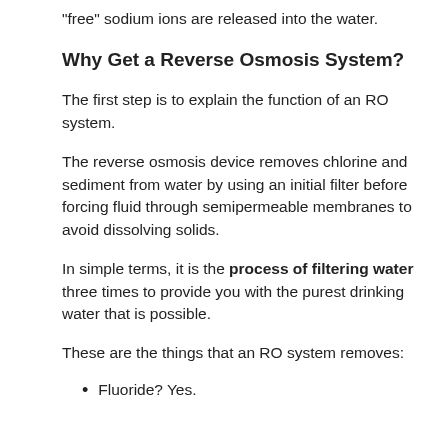“free” sodium ions are released into the water.
Why Get a Reverse Osmosis System?
The first step is to explain the function of an RO system.
The reverse osmosis device removes chlorine and sediment from water by using an initial filter before forcing fluid through semipermeable membranes to avoid dissolving solids.
In simple terms, it is the process of filtering water three times to provide you with the purest drinking water that is possible.
These are the things that an RO system removes:
Fluoride? Yes.